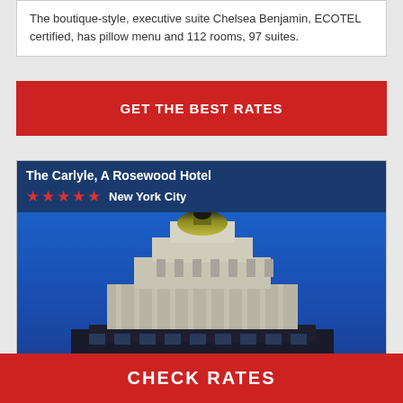The boutique-style, executive suite Chelsea Benjamin, ECOTEL certified, has pillow menu and 112 rooms, 97 suites.
GET THE BEST RATES
The Carlyle, A Rosewood Hotel
New York City
[Figure (photo): Upward view of the top of a tall Art Deco skyscraper with ornate gold dome against a deep blue sky, illuminated facade in white/grey stone.]
average
CHECK RATES